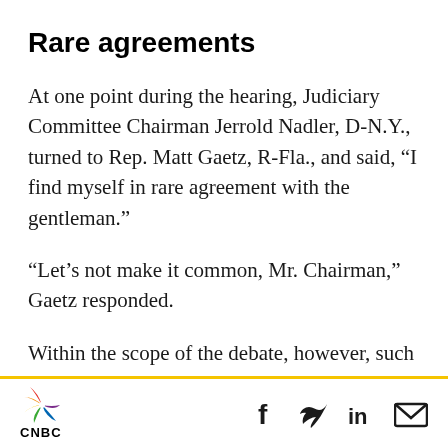Rare agreements
At one point during the hearing, Judiciary Committee Chairman Jerrold Nadler, D-N.Y., turned to Rep. Matt Gaetz, R-Fla., and said, “I find myself in rare agreement with the gentleman.”
“Let’s not make it common, Mr. Chairman,” Gaetz responded.
Within the scope of the debate, however, such odd couples were common. On the same side of the debate with broad support of the bills were antitrust subcommittee Chairman David
CNBC